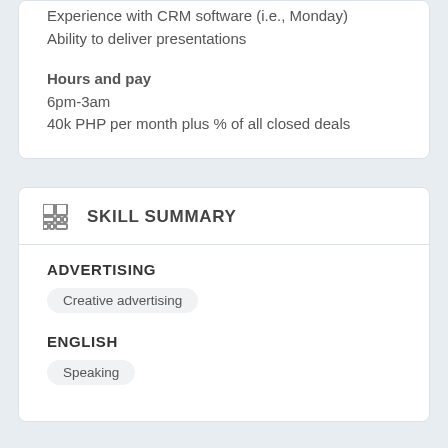Experience with CRM software (i.e., Monday)
Ability to deliver presentations
Hours and pay
6pm-3am
40k PHP per month plus % of all closed deals
SKILL SUMMARY
ADVERTISING
Creative advertising
ENGLISH
Speaking